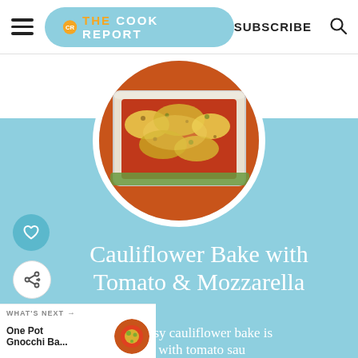THE COOK REPORT | SUBSCRIBE
[Figure (photo): Circular food photo of a cheesy cauliflower bake in a white baking dish topped with golden breadcrumbs and melted cheese, in tomato sauce]
Cauliflower Bake with Tomato & Mozzarella
This cheesy cauliflower bake is packed with tomato sauce
WHAT'S NEXT → One Pot Gnocchi Ba...